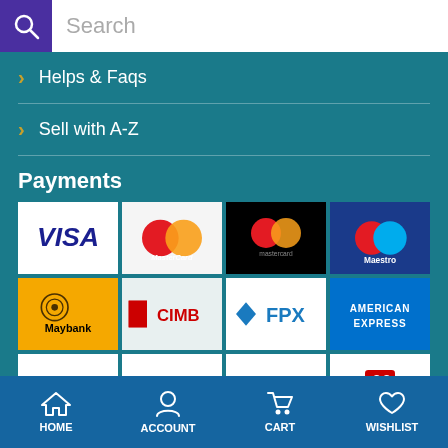[Figure (screenshot): Search bar with purple search icon and white input field with placeholder 'Search']
> Helps & Faqs
> Sell with A-Z
Payments
[Figure (logo): Payment method logos grid: VISA, MasterCard (old), MasterCard (new), Maestro, Maybank, CIMB, FPX, American Express, Hong Leong, Bank Islam, UOB, AmBank Group]
[Figure (logo): WhatsApp icon (green phone in speech bubble)]
HOME  ACCOUNT  CART  WISHLIST